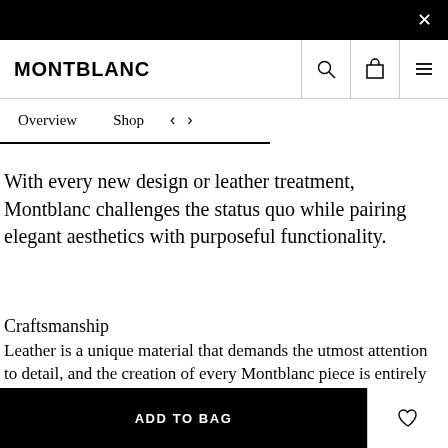[Figure (screenshot): Black top notification/banner bar with a close (×) button on the right]
MONTBLANC
Overview   Shop   < >
With every new design or leather treatment, Montblanc challenges the status quo while pairing elegant aesthetics with purposeful functionality.
Craftsmanship
Leather is a unique material that demands the utmost attention to detail, and the creation of every Montblanc piece is entirely dependent on our specialists' skills and expertise. By fully und ways of cutting it, where and embled, they can create authentic pieces of art. With over 80 years of expertise, the Montblanc Pelletieri Florentine leather artisan tradition
[Figure (screenshot): ADD TO BAG black button bar at the bottom with a heart/wishlist icon button on the right]